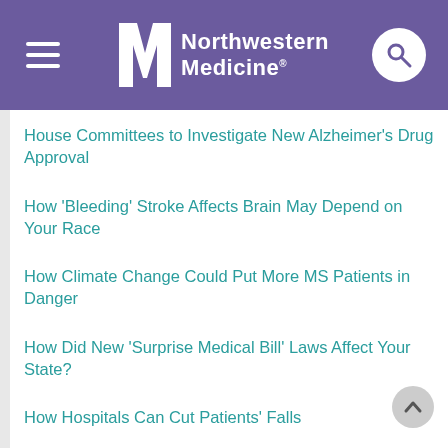Northwestern Medicine
House Committees to Investigate New Alzheimer's Drug Approval
How 'Bleeding' Stroke Affects Brain May Depend on Your Race
How Climate Change Could Put More MS Patients in Danger
How Did New 'Surprise Medical Bill' Laws Affect Your State?
How Hospitals Can Cut Patients' Falls
How Important Is Sex as Women Age?
How Insurance Plans Keep Black Patients From Cancer Care
How Moving the Homeless to Hotels During the